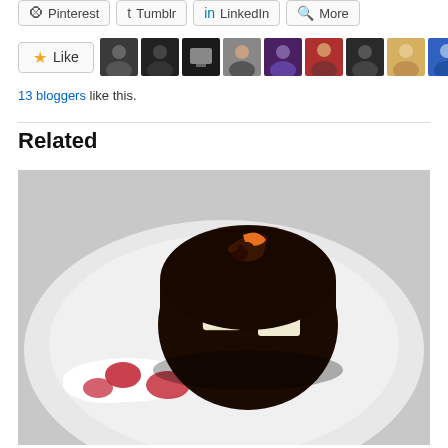Pinterest  Tumblr  LinkedIn  More (share buttons)
[Figure (other): Like button with star icon, followed by a row of 11 user avatar thumbnails]
13 bloggers like this.
Related
[Figure (photo): A chocolate dessert cake with decorative white chocolate pieces featuring skull designs, topped with a chocolate garnish, served on a white plate with cream and raspberry sauce drops]